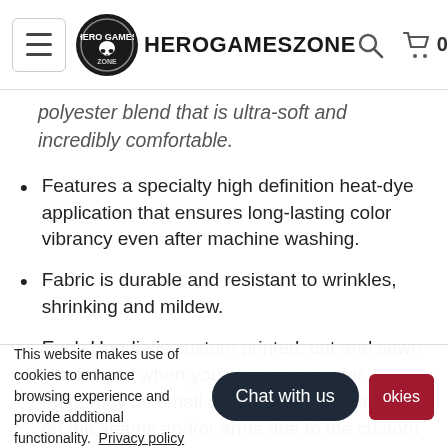HeroGamesZone
hoodie is constructed from a premium polyester blend that is ultra-soft and incredibly comfortable.
Features a specialty high definition heat-dye application that ensures long-lasting color vibrancy even after machine washing.
Fabric is durable and resistant to wrinkles, shrinking and mildew.
Each Hoodie is custom printed, cut and sewn just for you when you place your order – there may be small differences in the design on the seams and/or arms due to the custom nature of the production process!
This website makes use of cookies to enhance browsing experience and provide additional functionality. Privacy policy
Chat with us